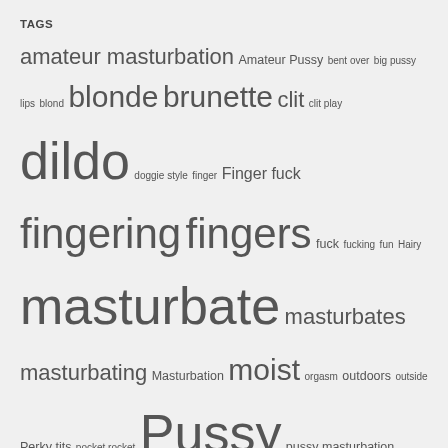TAGS
amateur masturbation Amateur Pussy bent over big pussy lips blond blonde brunette clit clit play dildo doggie style finger Finger fuck fingering fingers fuck fucking fun Hairy masturbate masturbates masturbating Masturbation moist orgasm outdoors outside Perky tits pocket rocket Pussy pussy masturbation rubbing shower socks spread stimulation suck teen teen orgasm tight toy toys tub vibrator wet
THE MASTURBATION LOUNGE
Sammy Tylor's Pride
JANUARY 23, 2016
Have you ever used any sex toys? I LOVE my toys! I got my first toy in my early 20s. I was so proud of it and showed it to all my girlfriends, they… The post Sammy Tylor's Pride appeared first on